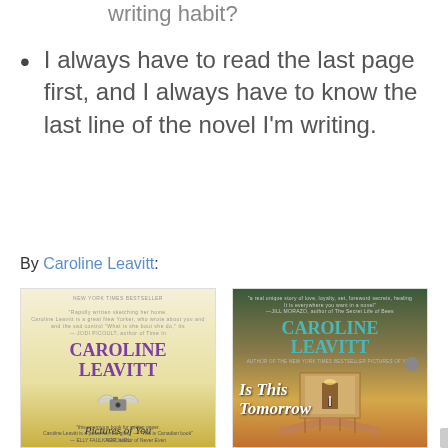writing habit?
I always have to read the last page first, and I always have to know the last line of the novel I'm writing.
By Caroline Leavitt:
[Figure (photo): Two book covers by Caroline Leavitt: 'Pictures of You' (New York Times Bestseller) showing a winged camera over a field, and 'Is This Tomorrow' showing hands holding a box with a small figure inside.]